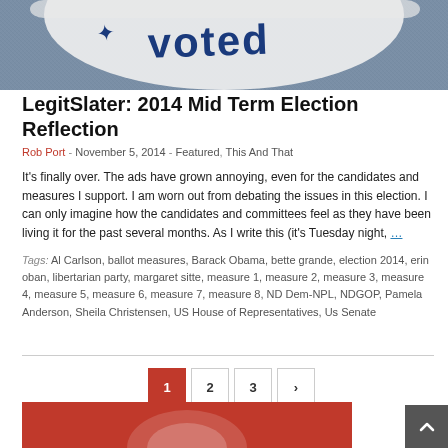[Figure (photo): Close-up photo of an 'I Voted' sticker with blue text and star, on a textured background]
LegitSlater: 2014 Mid Term Election Reflection
Rob Port - November 5, 2014 - Featured, This And That
It's finally over. The ads have grown annoying, even for the candidates and measures I support. I am worn out from debating the issues in this election. I can only imagine how the candidates and committees feel as they have been living it for the past several months. As I write this (it's Tuesday night, …
Tags: Al Carlson, ballot measures, Barack Obama, bette grande, election 2014, erin oban, libertarian party, margaret sitte, measure 1, measure 2, measure 3, measure 4, measure 5, measure 6, measure 7, measure 8, ND Dem-NPL, NDGOP, Pamela Anderson, Sheila Christensen, US House of Representatives, Us Senate
[Figure (photo): Partial view of a red background image at the bottom of the page]